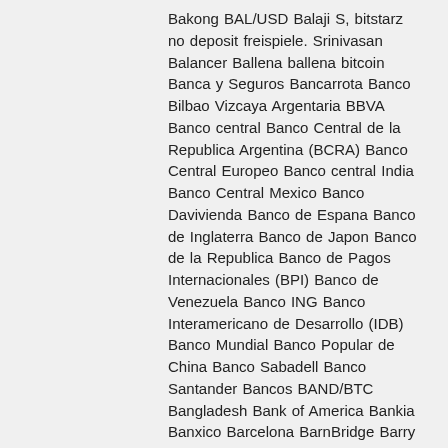Bakong BAL/USD Balaji S, bitstarz no deposit freispiele. Srinivasan Balancer Ballena ballena bitcoin Banca y Seguros Bancarrota Banco Bilbao Vizcaya Argentaria BBVA Banco central Banco Central de la Republica Argentina (BCRA) Banco Central Europeo Banco central India Banco Central Mexico Banco Davivienda Banco de Espana Banco de Inglaterra Banco de Japon Banco de la Republica Banco de Pagos Internacionales (BPI) Banco de Venezuela Banco ING Banco Interamericano de Desarrollo (IDB) Banco Mundial Banco Popular de China Banco Sabadell Banco Santander Bancos BAND/BTC Bangladesh Bank of America Bankia Banxico Barcelona BarnBridge Barry Silbert Basic Attention Token (BAT) BAT/USD BBVA BCE BCH/BTC BCH/USD Beacon Chain Beeple Ben Askren Beneficencia Beneficiencia Berkshire Hathaway Berlin Bielorrusia Bienes raices